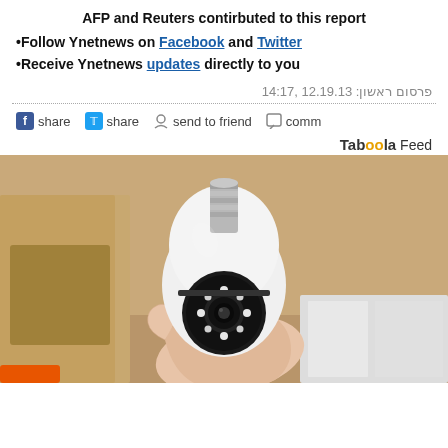AFP and Reuters contirbuted to this report
•Follow Ynetnews on Facebook and Twitter
•Receive Ynetnews updates directly to you
פרסום ראשון: 12.19.13, 14:17
share  share  send to friend  comm
Taboola Feed
[Figure (photo): A hand holding a white light-bulb-shaped security camera with LED ring and lens, photographed against a cardboard box background]